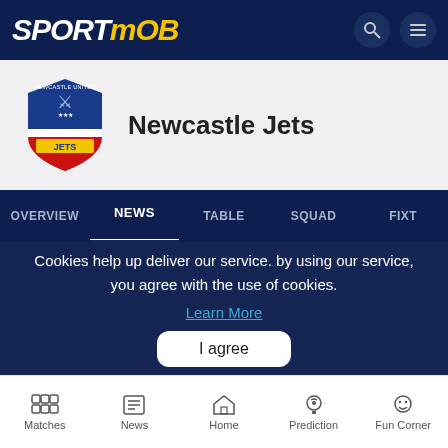SPORTMOB
Newcastle Jets
OVERVIEW | NEWS | TABLE | SQUAD | FIXT
Latest News | Transfer News | Media News
Cookies help up deliver our service. by using our service, you agree with the use of cookies.
Learn More
I agree
Matches | News | Home | Prediction | Fun Corner